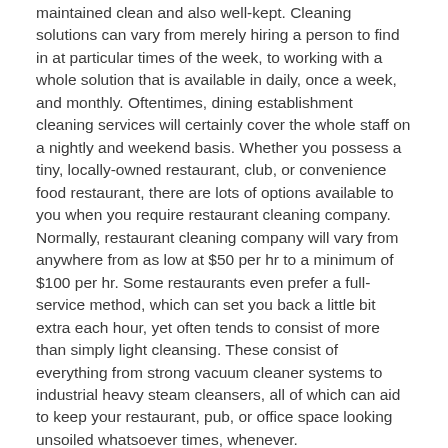maintained clean and also well-kept. Cleaning solutions can vary from merely hiring a person to find in at particular times of the week, to working with a whole solution that is available in daily, once a week, and monthly. Oftentimes, dining establishment cleaning services will certainly cover the whole staff on a nightly and weekend basis. Whether you possess a tiny, locally-owned restaurant, club, or convenience food restaurant, there are lots of options available to you when you require restaurant cleaning company. Normally, restaurant cleaning company will vary from anywhere from as low at $50 per hr to a minimum of $100 per hr. Some restaurants even prefer a full-service method, which can set you back a little bit extra each hour, yet often tends to consist of more than simply light cleansing. These consist of everything from strong vacuum cleaner systems to industrial heavy steam cleansers, all of which can aid to keep your restaurant, pub, or office space looking unsoiled whatsoever times, whenever.
Many services additionally employ expert carpet cleaners, which can be rather pricey per square foot, however are extremely valuable in removing all kind of spots as well as various other dirt, which have a tendency to build up over